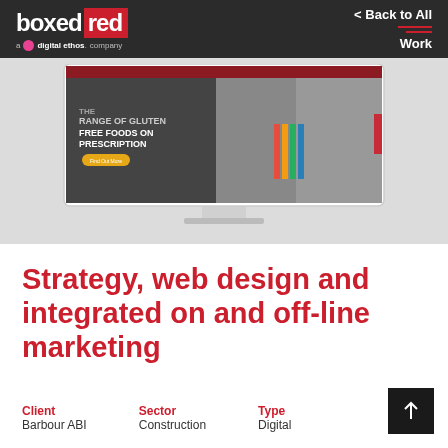boxed red — a digital ethos. company | < Back to All Work
[Figure (screenshot): Monitor/iMac showing a website for gluten free foods on prescription, with a colorful hero image of people cooking. The site has a dark red header navigation bar and a yellow call-to-action button.]
Strategy, web design and integrated on and off-line marketing
Client: Barbour ABI | Sector: Construction | Type: Digital